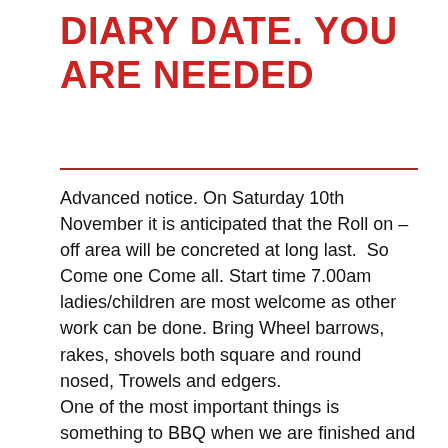DIARY DATE. YOU ARE NEEDED
Advanced notice. On Saturday 10th November it is anticipated that the Roll on – off area will be concreted at long last.  So Come one Come all. Start time 7.00am ladies/children are most welcome as other work can be done. Bring Wheel barrows, rakes, shovels both square and round nosed, Trowels and edgers.
One of the most important things is something to BBQ when we are finished and BYO drinks.  Could well be that we will need sustenance half way through the job so better bring smoko as well.
SO REMEMBER, 7AM SATURDAY 10TH